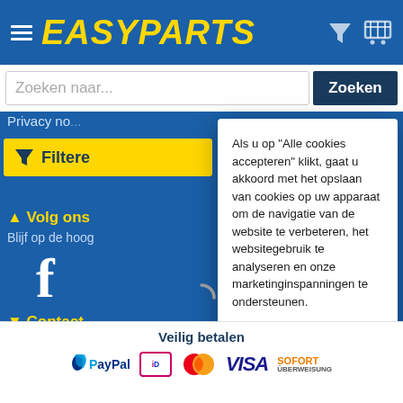[Figure (screenshot): EasyParts website header with logo, hamburger menu, filter icon and cart icon on blue background]
Zoeken naar...
Zoeken
Privacy no...
Filtere
▲ Volg ons
Blijf op de hoog
Als u op "Alle cookies accepteren" klikt, gaat u akkoord met het opslaan van cookies op uw apparaat om de navigatie van de website te verbeteren, het websitegebruik te analyseren en onze marketinginspanningen te ondersteunen.
Privacy instellingen
Alle cookies accepteren
▼ Contact
Veilig betalen
[Figure (logo): Payment logos: PayPal, iDEAL, MasterCard, VISA, SOFORT Überweisung]